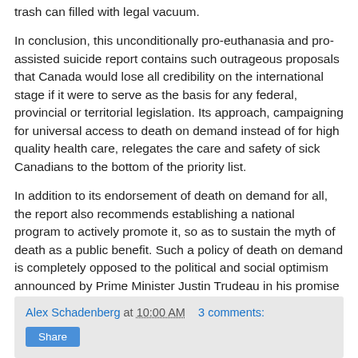trash can filled with legal vacuum.
In conclusion, this unconditionally pro-euthanasia and pro-assisted suicide report contains such outrageous proposals that Canada would lose all credibility on the international stage if it were to serve as the basis for any federal, provincial or territorial legislation. Its approach, campaigning for universal access to death on demand instead of for high quality health care, relegates the care and safety of sick Canadians to the bottom of the priority list.
In addition to its endorsement of death on demand for all, the report also recommends establishing a national program to actively promote it, so as to sustain the myth of death as a public benefit. Such a policy of death on demand is completely opposed to the political and social optimism announced by Prime Minister Justin Trudeau in his promise of "sunny ways" for Canada.
Alex Schadenberg at 10:00 AM   3 comments:
Share